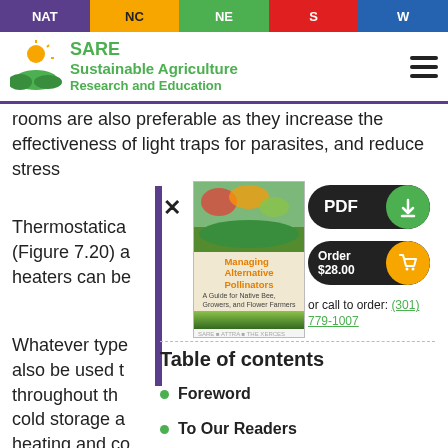NAT | NC | NE | S | W
[Figure (logo): SARE - Sustainable Agriculture Research and Education logo with sun/field icon]
rooms are also preferable as they increase the effectiveness of light traps for parasites, and reduce stress
Thermostatically (Figure 7.20) a heaters can be
Whatever type also be used t throughout th cold storage a heating and co Sensaphone-ty temperature a room alarms n dial that will
[Figure (photo): Book cover of 'Managing Alternative Pollinators' with green field and flower imagery]
PDF
Order $28.00
or call to order: (301) 779-1007
Table of contents
Foreword
To Our Readers